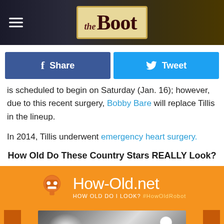[Figure (logo): The Boot website logo/header banner with hamburger menu icon on dark background]
f Share
Tweet
is scheduled to begin on Saturday (Jan. 16); however, due to this recent surgery, Bobby Bare will replace Tillis in the lineup.
In 2014, Tillis underwent emergency heart surgery.
How Old Do These Country Stars REALLY Look?
[Figure (infographic): How-Old.net advertisement banner with robot icon, orange background, text HOW OLD DO I LOOK? #HowOldRobot]
[Figure (photo): Country music stage photo with spotlight, on orange background with age estimation badge showing 39]